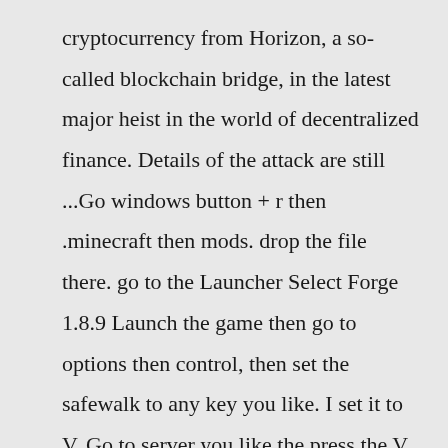cryptocurrency from Horizon, a so-called blockchain bridge, in the latest major heist in the world of decentralized finance. Details of the attack are still ...Go windows button + r then .minecraft then mods. drop the file there. go to the Launcher Select Forge 1.8.9 Launch the game then go to options then control, then set the safewalk to any key you like. I set it to V. Go to server you like the press the V key once and